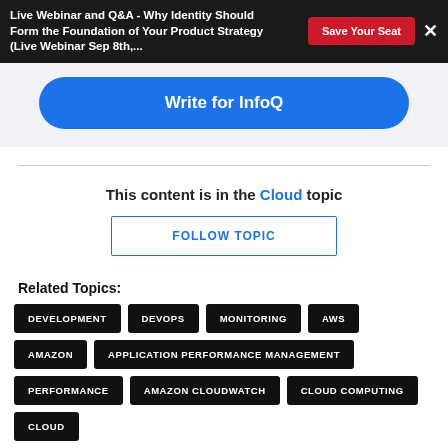Live Webinar and Q&A - Why Identity Should Form the Foundation of Your Product Strategy (Live Webinar Sep 8th,...
Write for InfoQ
This content is in the Cloud topic
FOLLOW TOPIC
Related Topics:
DEVELOPMENT
DEVOPS
MONITORING
AWS
AMAZON
APPLICATION PERFORMANCE MANAGEMENT
PERFORMANCE
AMAZON CLOUDWATCH
CLOUD COMPUTING
CLOUD